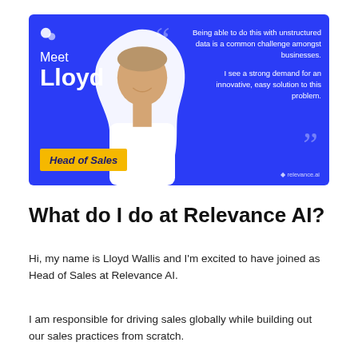[Figure (photo): Promotional banner for Relevance AI featuring a smiling man (Lloyd) on a blue background. Left side shows 'Meet Lloyd' text and a yellow 'Head of Sales' badge. Right side shows a quote: 'Being able to do this with unstructured data is a common challenge amongst businesses. I see a strong demand for an innovative, easy solution to this problem.' Bottom right shows relevance.ai logo.]
What do I do at Relevance AI?
Hi, my name is Lloyd Wallis and I'm excited to have joined as Head of Sales at Relevance AI.
I am responsible for driving sales globally while building out our sales practices from scratch.